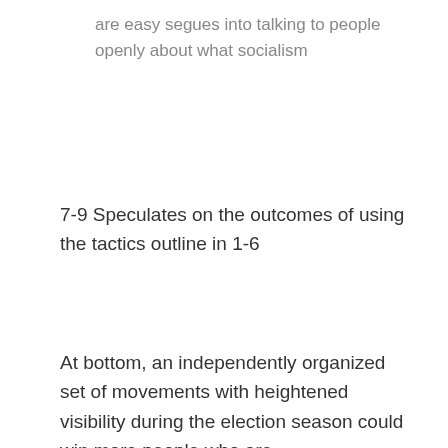are easy segues into talking to people openly about what socialism
7-9 Speculates on the outcomes of using the tactics outline in 1-6
At bottom, an independently organized set of movements with heightened visibility during the election season could win more people who are